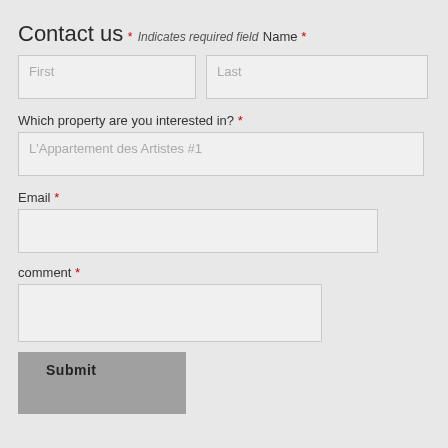Contact us
* Indicates required field
Name *
Which property are you interested in? *
L'Appartement des Artistes #1
Email *
comment *
Submit